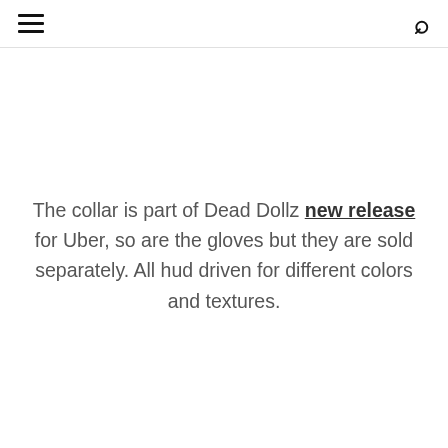≡   🔍
The collar is part of Dead Dollz new release for Uber, so are the gloves but they are sold separately. All hud driven for different colors and textures.